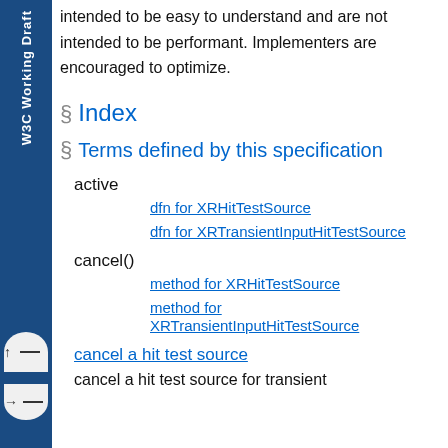intended to be easy to understand and are not intended to be performant. Implementers are encouraged to optimize.
§ Index
§ Terms defined by this specification
active
dfn for XRHitTestSource
dfn for XRTransientInputHitTestSource
cancel()
method for XRHitTestSource
method for XRTransientInputHitTestSource
cancel a hit test source
cancel a hit test source for transient